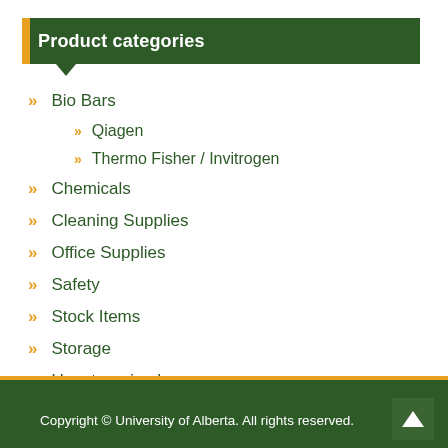Product categories
Bio Bars
Qiagen
Thermo Fisher / Invitrogen
Chemicals
Cleaning Supplies
Office Supplies
Safety
Stock Items
Storage
Uncategorized
Copyright © University of Alberta. All rights reserved.